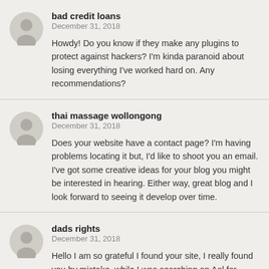bad credit loans
December 31, 2018
Howdy! Do you know if they make any plugins to protect against hackers? I'm kinda paranoid about losing everything I've worked hard on. Any recommendations?
thai massage wollongong
December 31, 2018
Does your website have a contact page? I'm having problems locating it but, I'd like to shoot you an email. I've got some creative ideas for your blog you might be interested in hearing. Either way, great blog and I look forward to seeing it develop over time.
dads rights
December 31, 2018
Hello I am so grateful I found your site, I really found you by mistake, while I was searching on Aol for